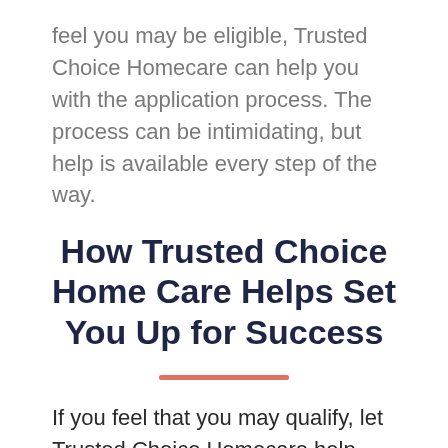feel you may be eligible, Trusted Choice Homecare can help you with the application process. The process can be intimidating, but help is available every step of the way.
How Trusted Choice Home Care Helps Set You Up for Success
If you feel that you may qualify, let Trusted Choice Homecare help you navigate the assessments, forms, and other steps you must take. Trusted Choice has been a Fiscal